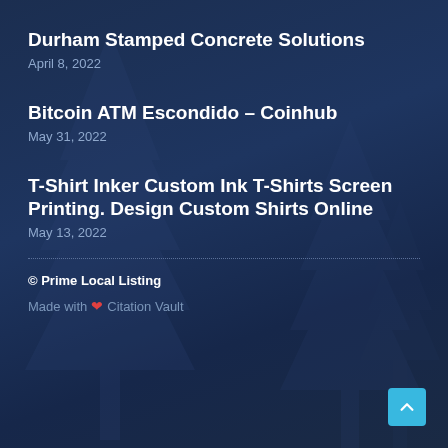Durham Stamped Concrete Solutions
April 8, 2022
Bitcoin ATM Escondido – Coinhub
May 31, 2022
T-Shirt Inker Custom Ink T-Shirts Screen Printing. Design Custom Shirts Online
May 13, 2022
© Prime Local Listing
Made with ❤ Citation Vault